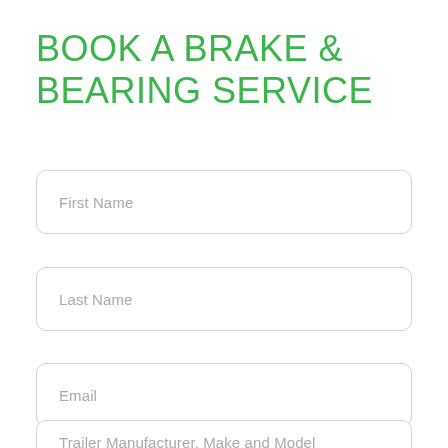BOOK A BRAKE & BEARING SERVICE
First Name
Last Name
Email
Trailer Manufacturer, Make and Model